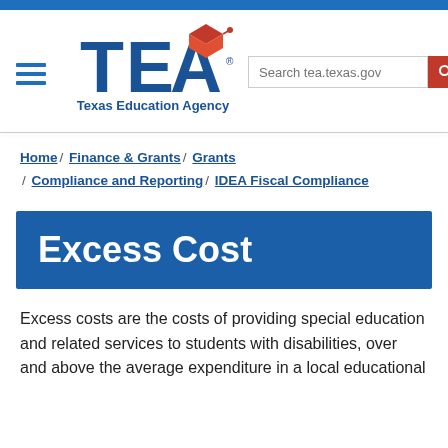[Figure (logo): Texas Education Agency (TEA) logo with graduation cap icon in red/orange and blue block letters, with 'Texas Education Agency' text below]
Search tea.texas.gov
Home / Finance & Grants / Grants / Compliance and Reporting / IDEA Fiscal Compliance
Excess Cost
Excess costs are the costs of providing special education and related services to students with disabilities, over and above the average expenditure in a local educational